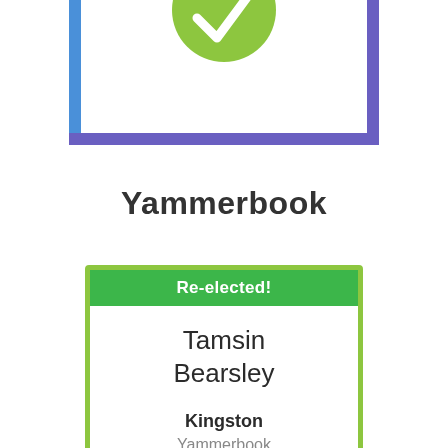[Figure (illustration): Partial view of a card or badge with a purple/blue border containing a green circular checkmark icon at the top, truncated at the top of the page.]
Yammerbook
Re-elected!
Tamsin Bearsley
Kingston
Yammerbook
Ward